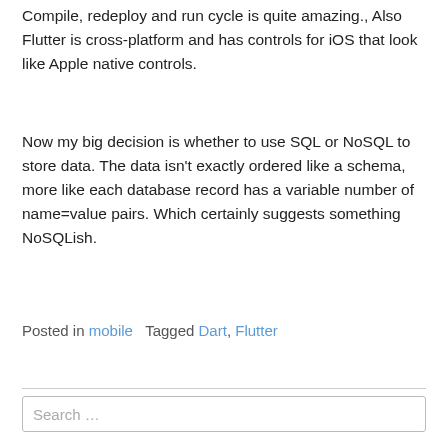Compile, redeploy and run cycle is quite amazing., Also Flutter is cross-platform and has controls for iOS that look like Apple native controls.
Now my big decision is whether to use SQL or NoSQL to store data. The data isn't exactly ordered like a schema, more like each database record has a variable number of name=value pairs. Which certainly suggests something NoSQLish.
Posted in mobile   Tagged Dart, Flutter